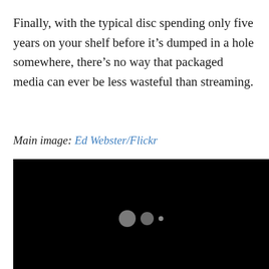Finally, with the typical disc spending only five years on your shelf before it's dumped in a hole somewhere, there's no way that packaged media can ever be less wasteful than streaming.
Main image: Ed Webster/Flickr
[Figure (screenshot): A black video player with three dots (loading indicator) in the center.]